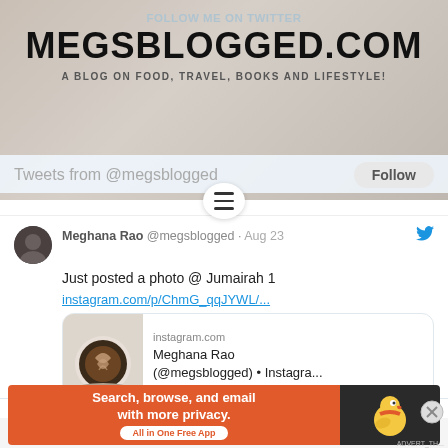FOLLOW ME ON TWITTER
MEGSBLOGGED.COM
A BLOG ON FOOD, TRAVEL, BOOKS AND LIFESTYLE!
Tweets from @megsblogged  Follow
Meghana Rao @megsblogged · Aug 23
Just posted a photo @ Jumairah 1
instagram.com/p/ChmG_qqJYWL/...
[Figure (screenshot): Instagram link preview card showing a latte art coffee photo with text: instagram.com / Meghana Rao (@megsblogged) • Instagra...]
Advertisements
[Figure (screenshot): DuckDuckGo advertisement banner: Search, browse, and email with more privacy. All in One Free App]